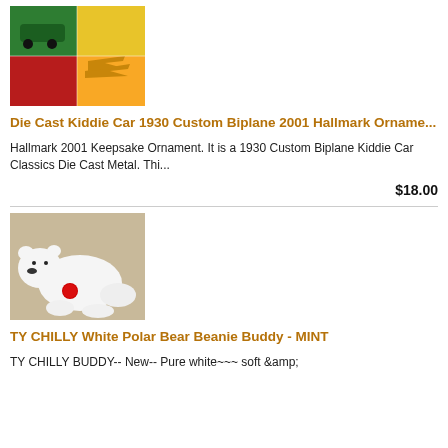[Figure (photo): Photo of Die Cast Kiddie Car 1930 Custom Biplane ornament on red and yellow background with box]
Die Cast Kiddie Car 1930 Custom Biplane 2001 Hallmark Orname...
Hallmark 2001 Keepsake Ornament. It is a 1930 Custom Biplane Kiddie Car Classics Die Cast Metal. Thi...
$18.00
[Figure (photo): Photo of TY Chilly white polar bear Beanie Buddy stuffed animal with red TY tag]
TY CHILLY White Polar Bear Beanie Buddy - MINT
TY CHILLY BUDDY-- New-- Pure white~~~ soft &amp;